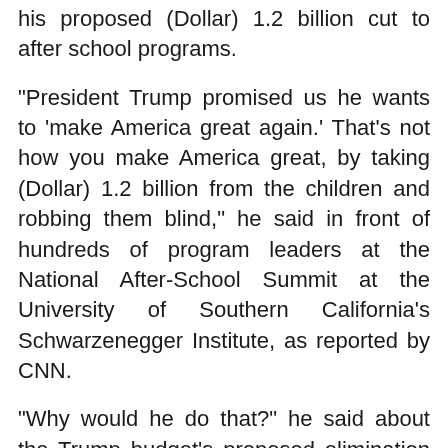his proposed (Dollar) 1.2 billion cut to after school programs.
"President Trump promised us he wants to 'make America great again.' That's not how you make America great, by taking (Dollar) 1.2 billion from the children and robbing them blind," he said in front of hundreds of program leaders at the National After-School Summit at the University of Southern California's Schwarzenegger Institute, as reported by CNN.
"Why would he do that?" he said about the Trump budget's proposed elimination of the 21st Century Community Learning Center grant program.